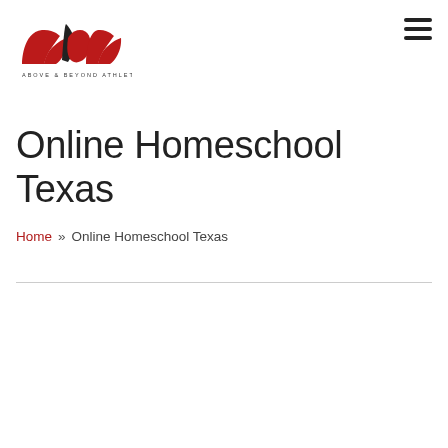[Figure (logo): Above & Beyond Athletics (aba) logo in red with text below]
Online Homeschool Texas
Home » Online Homeschool Texas